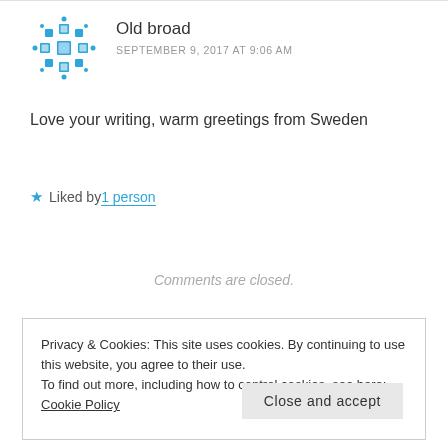[Figure (illustration): Blue geometric snowflake/mandala avatar icon for user 'Old broad']
Old broad
SEPTEMBER 9, 2017 AT 9:06 AM
Love your writing, warm greetings from Sweden
★ Liked by 1 person
Comments are closed.
Privacy & Cookies: This site uses cookies. By continuing to use this website, you agree to their use.
To find out more, including how to control cookies, see here: Cookie Policy